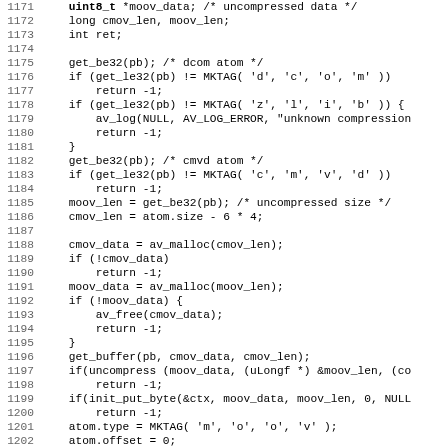[Figure (screenshot): Source code listing in monospace font showing C code lines 1171-1203, with line numbers on the left and code on the right. The code involves handling cmov/moov atoms, compression checks, memory allocation, and atom type assignment.]